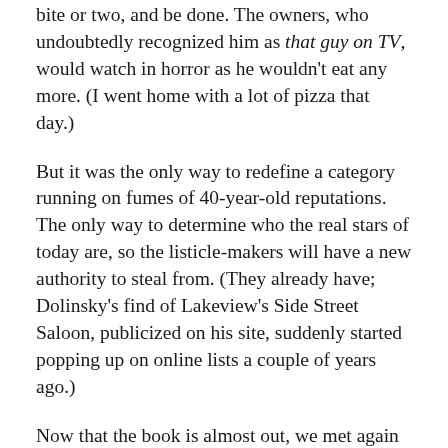bite or two, and be done. The owners, who undoubtedly recognized him as that guy on TV, would watch in horror as he wouldn't eat any more. (I went home with a lot of pizza that day.)
But it was the only way to redefine a category running on fumes of 40-year-old reputations. The only way to determine who the real stars of today are, so the listicle-makers will have a new authority to steal from. (They already have; Dolinsky's find of Lakeview's Side Street Saloon, publicized on his site, suddenly started popping up on online lists a couple of years ago.)
Now that the book is almost out, we met again for pizza at his choice of My Pi in Bucktown, which he considers an exemplar of deep dish that's not too deep, with just the right balance of ingredients and flavors. Here's the graduate-level Chicago pizza symposium that took place that day.